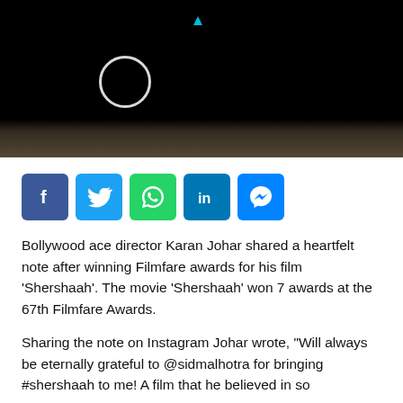[Figure (photo): Dark/black video thumbnail with a white loading circle spinner on left side, a small teal/cyan play indicator triangle at top center, and a bottom strip showing what appears to be military boots/feet on ground.]
[Figure (infographic): Social media sharing buttons row: Facebook (blue), Twitter (light blue), WhatsApp (green), LinkedIn (blue), Messenger (blue)]
Bollywood ace director Karan Johar shared a heartfelt note after winning Filmfare awards for his film 'Shershaah'. The movie 'Shershaah' won 7 awards at the 67th Filmfare Awards.
Sharing the note on Instagram Johar wrote, "Will always be eternally grateful to @sidmalhotra for bringing #shershaah to me! A film that he believed in so